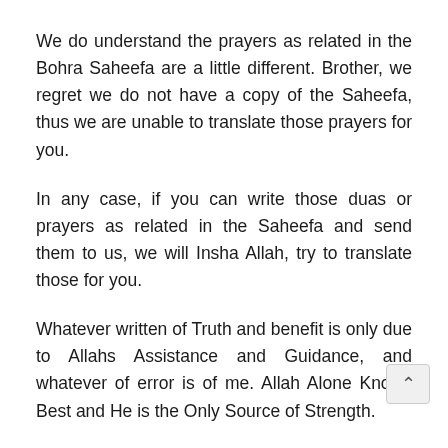We do understand the prayers as related in the Bohra Saheefa are a little different. Brother, we regret we do not have a copy of the Saheefa, thus we are unable to translate those prayers for you.
In any case, if you can write those duas or prayers as related in the Saheefa and send them to us, we will Insha Allah, try to translate those for you.
Whatever written of Truth and benefit is only due to Allahs Assistance and Guidance, and whatever of error is of me. Allah Alone Knows Best and He is the Only Source of Strength.